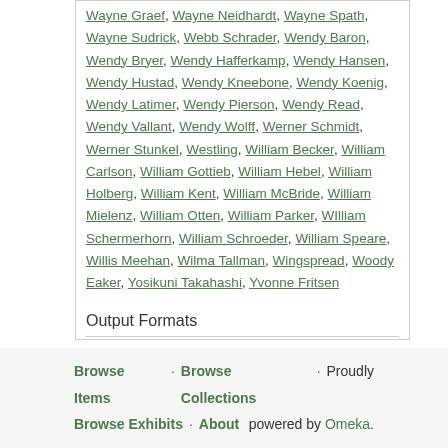Wayne Graef, Wayne Neidhardt, Wayne Spath, Wayne Sudrick, Webb Schrader, Wendy Baron, Wendy Bryer, Wendy Hafferkamp, Wendy Hansen, Wendy Hustad, Wendy Kneebone, Wendy Koenig, Wendy Latimer, Wendy Pierson, Wendy Read, Wendy Vallant, Wendy Wolff, Werner Schmidt, Werner Stunkel, Westling, William Becker, William Carlson, William Gottieb, William Hebel, William Holberg, William Kent, William McBride, William Mielenz, William Otten, William Parker, WIlliam Schermerhorn, William Schroeder, William Speare, Willis Meehan, Wilma Tallman, Wingspread, Woody Eaker, Yosikuni Takahashi, Yvonne Fritsen
Output Formats
atom, dcmes-xml, json, omeka-xml, rss2
Browse Items · Browse Collections · Proudly powered by Omeka. Browse Exhibits · About